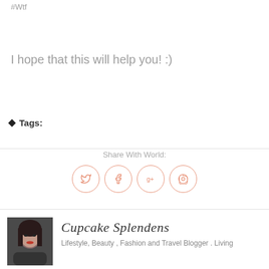#Wtf
I hope that this will help you! :)
Tags:
Share With World:
[Figure (infographic): Four social media icon circles with salmon/coral border: Twitter (bird), Facebook (f), Google+ (g+), Pinterest (p)]
[Figure (photo): Portrait photo of a woman with dark hair, red lips, against a dark background]
Cupcake Splendens
Lifestyle, Beauty , Fashion and Travel Blogger . Living